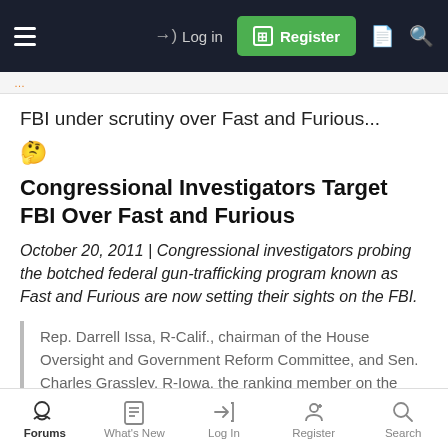Log in | Register
FBI under scrutiny over Fast and Furious...
🤔
Congressional Investigators Target FBI Over Fast and Furious
October 20, 2011 | Congressional investigators probing the botched federal gun-trafficking program known as Fast and Furious are now setting their sights on the FBI.
Rep. Darrell Issa, R-Calif., chairman of the House Oversight and Government Reform Committee, and Sen. Charles Grassley, R-Iowa, the ranking member on the Judiciary Committee, sent a letter Thursday to FBI Director Robert
Forums | What's New | Log In | Register | Search